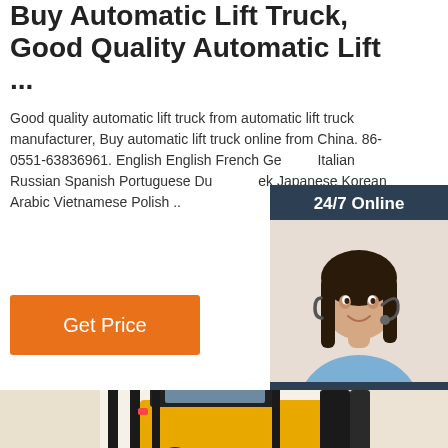Buy Automatic Lift Truck, Good Quality Automatic Lift ...
Good quality automatic lift truck from automatic lift truck manufacturer, Buy automatic lift truck online from China. 86-0551-63836961. English English French German Italian Russian Spanish Portuguese Dutch Greek Japanese Korean Arabic Vietnamese Polish ..
[Figure (other): Chat widget with '24/7 Online' banner, customer service representative wearing headset, 'Click here for free chat!' text, and orange QUOTATION button]
[Figure (photo): Forklift / automatic lift truck, yellow and black, photographed in a warehouse]
Get Price